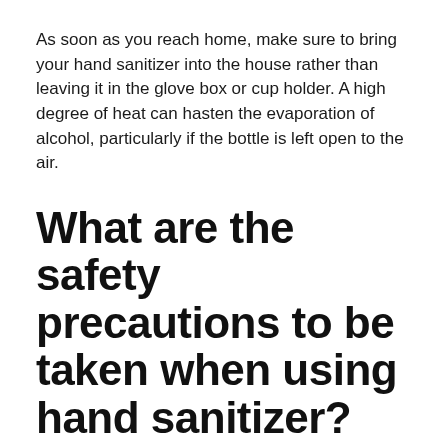As soon as you reach home, make sure to bring your hand sanitizer into the house rather than leaving it in the glove box or cup holder. A high degree of heat can hasten the evaporation of alcohol, particularly if the bottle is left open to the air.
What are the safety precautions to be taken when using hand sanitizer?
Make sure you adhere to the following safety